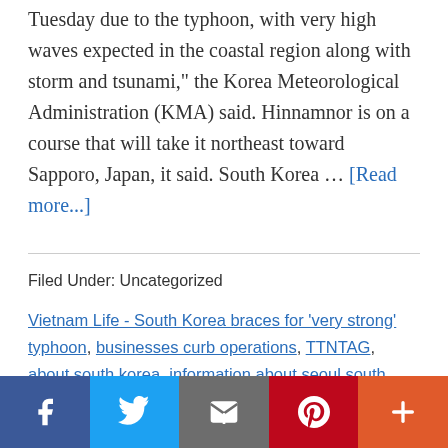Tuesday due to the typhoon, with very high waves expected in the coastal region along with storm and tsunami," the Korea Meteorological Administration (KMA) said. Hinnamnor is on a course that will take it northeast toward Sapporo, Japan, it said. South Korea … [Read more...]
Filed Under: Uncategorized
Vietnam Life - South Korea braces for 'very strong' typhoon, businesses curb operations, TTNTAG, about south korea, information about seoul south korea, south korea 4 days itinerary, pohang south korea, why